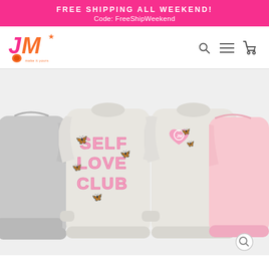FREE SHIPPING ALL WEEKEND!
Code: FreeShipWeekend
[Figure (logo): JM Make It Yours logo with orange pumpkin/ball accent and pink/orange lettering]
[Figure (photo): Product photo showing two white crewneck sweatshirts (front and back views) featuring 'Self Love Club' text with purple butterfly decorations and monogram heart on chest. Partial grey sweatshirt on left and partial pink sweatshirt on right.]